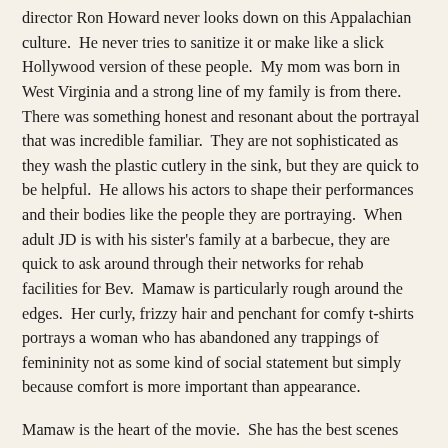director Ron Howard never looks down on this Appalachian culture.  He never tries to sanitize it or make like a slick Hollywood version of these people.  My mom was born in West Virginia and a strong line of my family is from there.  There was something honest and resonant about the portrayal that was incredible familiar.  They are not sophisticated as they wash the plastic cutlery in the sink, but they are quick to be helpful.  He allows his actors to shape their performances and their bodies like the people they are portraying.  When adult JD is with his sister's family at a barbecue, they are quick to ask around through their networks for rehab facilities for Bev.  Mamaw is particularly rough around the edges.  Her curly, frizzy hair and penchant for comfy t-shirts portrays a woman who has abandoned any trappings of femininity not as some kind of social statement but simply because comfort is more important than appearance.
Mamaw is the heart of the movie.  She has the best scenes and the best lines.  She is a complex character.  You can see her transition from being indulgent with her daughter to being harsh with her grandson.  She pushes JD to be better, even if he hates her for it.  JD doesn't want to try because life is unfair.  He doesn't see why he has to do well in school because Bev was Salutatorian of her high